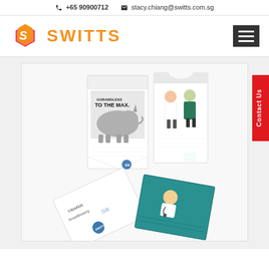+65 90900712  stacy.chiang@switts.com.sg
[Figure (logo): SWITTS company logo with orange and pink/red S-shaped hexagonal icon and orange text SWITTS]
[Figure (photo): Product photo showing custom printed notepads/memo pads with various branding designs including a rhino with 'TO THE MAX' text, doctor/nurse figures, Yahava SmartBrewing Silk branded notepad, and a teal notepad with cartoon doctor character]